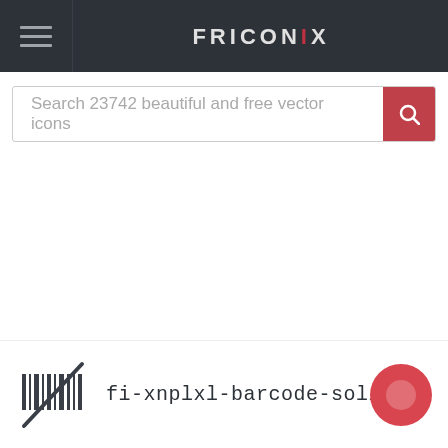FRICONIX
Search 23742 beautiful and free vector icons
[Figure (logo): fi-xnplxl-barcode-solid icon: a barcode with a slash through it]
fi-xnplxl-barcode-solid